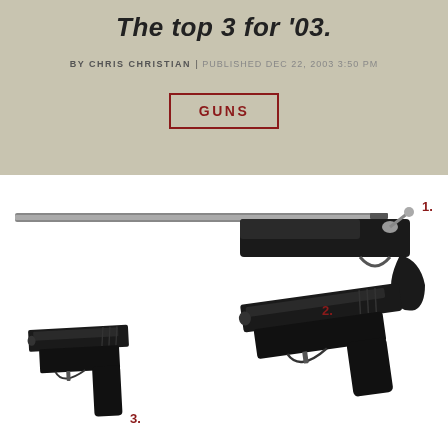The top 3 for '03.
BY CHRIS CHRISTIAN | PUBLISHED DEC 22, 2003 3:50 PM
GUNS
[Figure (photo): Three handguns/pistols labeled 1, 2, and 3. Gun 1 is a long-barreled bolt-action pistol at top right. Gun 2 is a semi-automatic pistol in the center-right. Gun 3 is a compact semi-automatic pistol at lower left.]